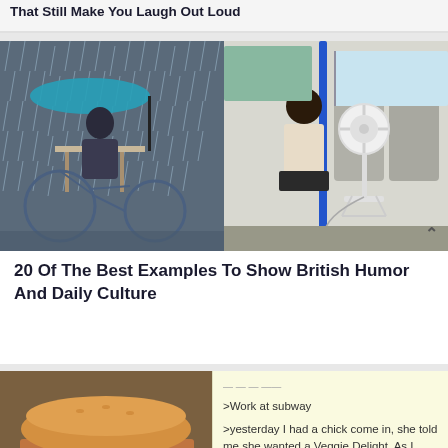That Still Make You Laugh Out Loud
[Figure (photo): Two side-by-side photos: left shows a person sitting at an outdoor cafe table in heavy rain with a bicycle nearby and a blue umbrella; right shows a person on a train with a large standing fan next to them.]
20 Of The Best Examples To Show British Humor And Daily Culture
[Figure (photo): Left: close-up photo of a Subway sandwich with lettuce and vegetables. Right: text on cream background reading '>Work at subway >yesterday I had a chick come in, she told me she wanted a Veggie Delight. As I went to get the bread she asked me if I could change my gloves cause she was vegan and I had been handling meat. I di']